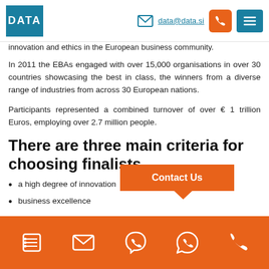DATA | data@data.si
innovation and ethics in the European business community.
In 2011 the EBAs engaged with over 15,000 organisations in over 30 countries showcasing the best in class, the winners from a diverse range of industries from across 30 European nations.
Participants represented a combined turnover of over € 1 trillion Euros, employing over 2.7 million people.
There are three main criteria for choosing finalists
a high degree of innovation
business excellence
Contact Us | icons: list, email, viber, whatsapp, phone